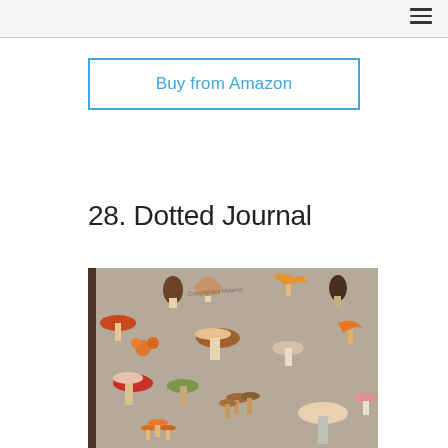Buy from Amazon
28. Dotted Journal
[Figure (illustration): Book cover illustration featuring a pattern of colorful mushrooms of various types on a taupe/gray-brown background. Multiple mushroom varieties are shown including morel, chanterelle, porcini, and other species in orange, brown, red, cream, and white tones. A small watermark text reads 'Copyrighted Material'.]